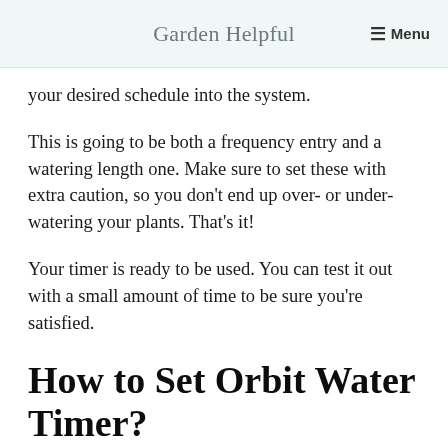Garden Helpful  ≡ Menu
your desired schedule into the system.
This is going to be both a frequency entry and a watering length one. Make sure to set these with extra caution, so you don't end up over- or under-watering your plants. That's it!
Your timer is ready to be used. You can test it out with a small amount of time to be sure you're satisfied.
How to Set Orbit Water Timer?